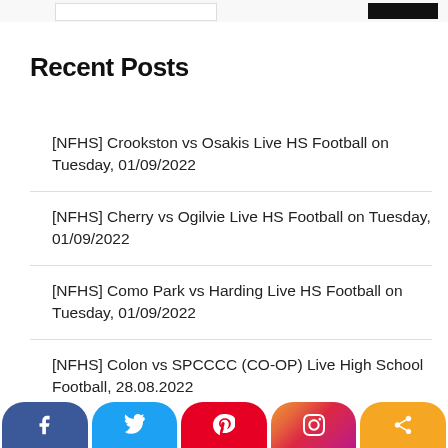Recent Posts
[NFHS] Crookston vs Osakis Live HS Football on Tuesday, 01/09/2022
[NFHS] Cherry vs Ogilvie Live HS Football on Tuesday, 01/09/2022
[NFHS] Como Park vs Harding Live HS Football on Tuesday, 01/09/2022
[NFHS] Colon vs SPCCCC (CO-OP) Live High School Football, 28.08.2022